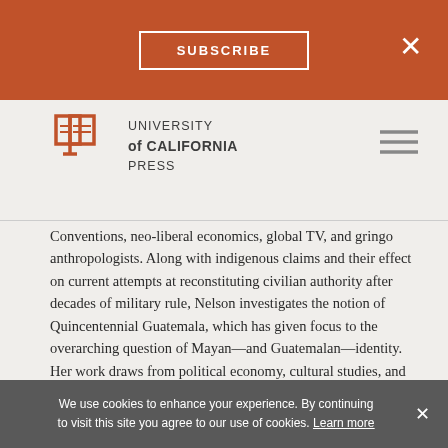SUBSCRIBE
[Figure (logo): University of California Press logo with open book icon]
Conventions, neo-liberal economics, global TV, and gringo anthropologists. Along with indigenous claims and their effect on current attempts at reconstituting civilian authority after decades of military rule, Nelson investigates the notion of Quincentennial Guatemala, which has given focus to the overarching question of Mayan—and Guatemalan—identity. Her work draws from political economy, cultural studies, and psychoanalysis, and has special relevance to ongoing discussions of power, hegemony, and the production of subject positions, as well as gender issues and histories of violence as they relate to postcolonial nation-state formation.
We use cookies to enhance your experience. By continuing to visit this site you agree to our use of cookies. Learn more